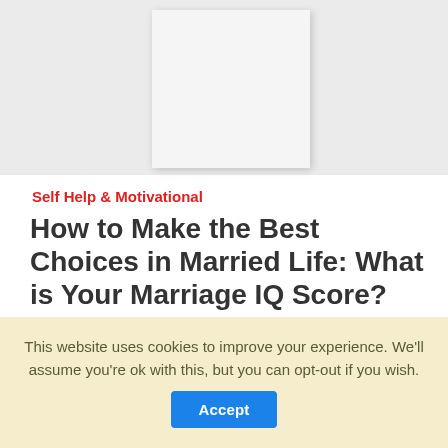[Figure (photo): Gray placeholder image area with a white card in the center, resembling a book cover placeholder.]
Self Help & Motivational
How to Make the Best Choices in Married Life: What is Your Marriage IQ Score?
What is your Marriage Score? Take the Marriage
This website uses cookies to improve your experience. We'll assume you're ok with this, but you can opt-out if you wish.